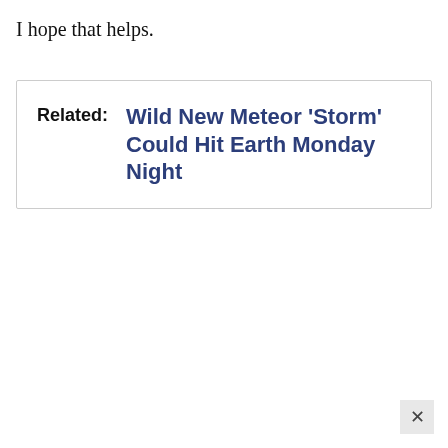I hope that helps.
Related: Wild New Meteor 'Storm' Could Hit Earth Monday Night